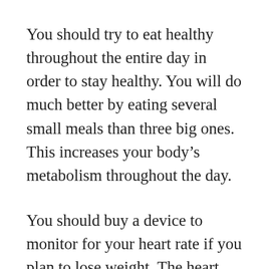You should try to eat healthy throughout the entire day in order to stay healthy. You will do much better by eating several small meals than three big ones. This increases your body’s metabolism throughout the day.
You should buy a device to monitor for your heart rate if you plan to lose weight. The heart rate monitor will help guide you know if you are meeting your needs there.
Make sure you’re dealing with your stress in check so as to avoid weight gain.When our bodies are stressed out they tend to hoard